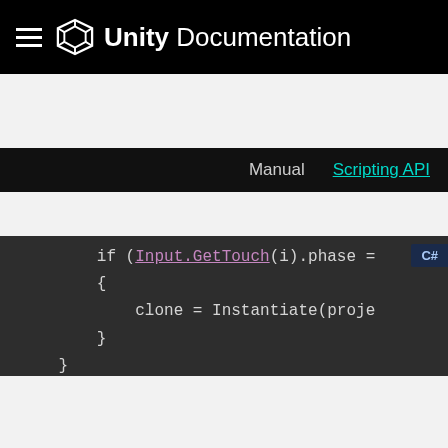Unity Documentation
Manual   Scripting API
[Figure (screenshot): Code snippet showing C# Unity script with if (Input.GetTouch(i).phase ..., { clone = Instantiate(proje..., }, }, } on dark background with C# badge]
By clicking "Accept All Cookies", you agree to the storing of cookies on your device to enhance site navigation, analyze site usage, and assist in our marketing efforts.
Cookies Settings
Accept All Cookies